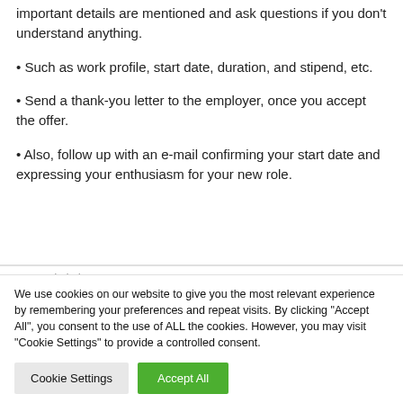important details are mentioned and ask questions if you don't understand anything.
• Such as work profile, start date, duration, and stipend, etc.
• Send a thank-you letter to the employer, once you accept the offer.
• Also, follow up with an e-mail confirming your start date and expressing your enthusiasm for your new role.
We use cookies on our website to give you the most relevant experience by remembering your preferences and repeat visits. By clicking "Accept All", you consent to the use of ALL the cookies. However, you may visit "Cookie Settings" to provide a controlled consent.